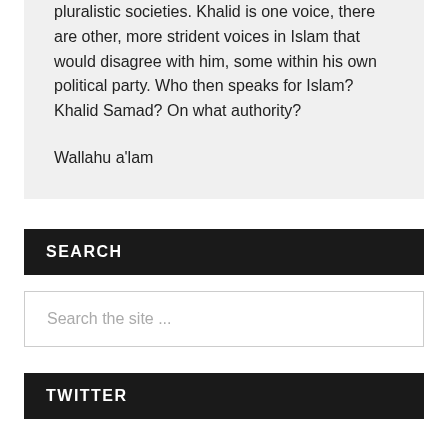pluralistic societies. Khalid is one voice, there are other, more strident voices in Islam that would disagree with him, some within his own political party. Who then speaks for Islam? Khalid Samad? On what authority?
Wallahu a'lam
SEARCH
Search the site ...
TWITTER